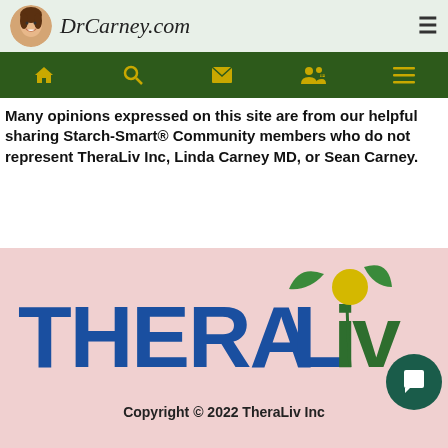DrCarney.com
Many opinions expressed on this site are from our helpful sharing Starch-Smart® Community members who do not represent TheraLiv Inc, Linda Carney MD, or Sean Carney.
[Figure (logo): TheraLiv Inc logo with blue and green text and plant/leaf icon with yellow circle]
Copyright © 2022 TheraLiv Inc